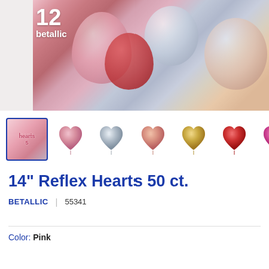[Figure (photo): Close-up photo of metallic heart-shaped balloons in pink, red, silver, and rose gold colors with Betallic brand logo visible]
[Figure (photo): Row of thumbnail images showing balloon product: first thumbnail selected (package photo), followed by heart-shaped balloons in pink, silver, rose/salmon, gold, red, and magenta colors]
14" Reflex Hearts 50 ct.
BETALLIC | 55341
Color: Pink